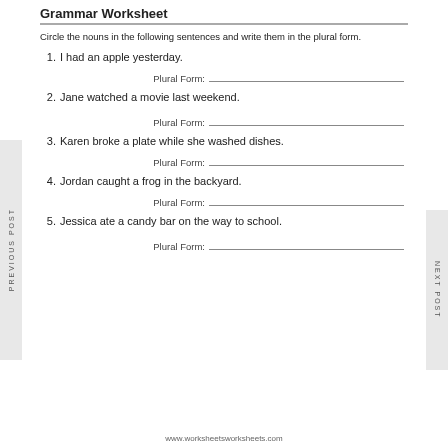Grammar Worksheet
Circle the nouns in the following sentences and write them in the plural form.
1. I had an apple yesterday.
Plural Form:
2. Jane watched a movie last weekend.
Plural Form:
3. Karen broke a plate while she washed dishes.
Plural Form:
4. Jordan caught a frog in the backyard.
Plural Form:
5. Jessica ate a candy bar on the way to school.
Plural Form:
www.worksheetsworksheets.com